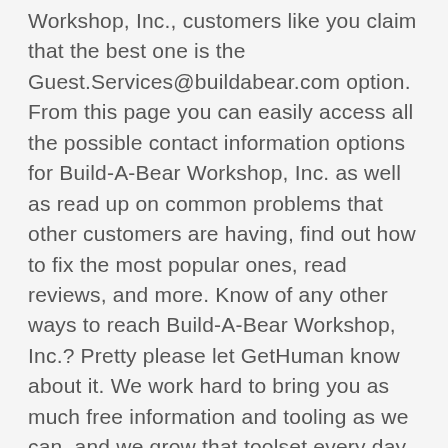Workshop, Inc., customers like you claim that the best one is the Guest.Services@buildabear.com option. From this page you can easily access all the possible contact information options for Build-A-Bear Workshop, Inc. as well as read up on common problems that other customers are having, find out how to fix the most popular ones, read reviews, and more. Know of any other ways to reach Build-A-Bear Workshop, Inc.? Pretty please let GetHuman know about it. We work hard to bring you as much free information and tooling as we can, and we grow that toolset every day, bringing things like the call-back tool that skips the hold music when calling a company or call-recording for customers (beta). The more you use GetHuman and tell friends about it, the more we're able to provide useful, free tools for you and customers worldwide.